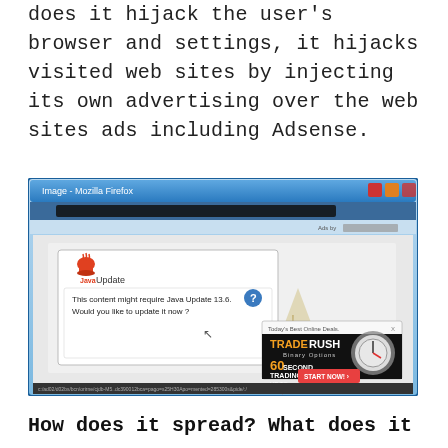does it hijack the user's browser and settings, it hijacks visited web sites by injecting its own advertising over the web sites ads including Adsense.
[Figure (screenshot): A screenshot of the Mozilla Firefox browser showing a fake Java Update dialog box ('This content might require Java Update 13.6. Would you like to update it now?') being overlaid by an injected advertisement for TradeRush Binary Options ('60 Second Trading, Up to $20,000 Bonus, Start Now!')]
How does it spread? What does it